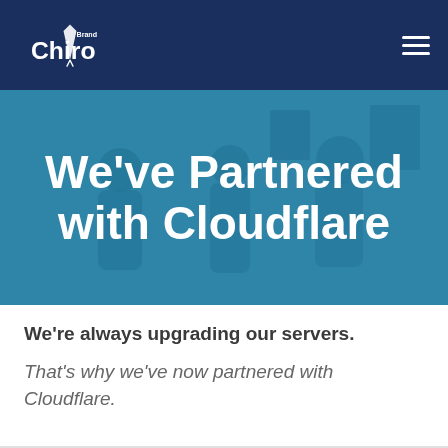ChiroBrand - navigation header with logo and hamburger menu
[Figure (screenshot): Hero banner with teal/blue overlay showing chiropractors in a clinical setting]
We've Partnered with Cloudflare
We're always upgrading our servers.
That's why we've now partnered with Cloudflare.